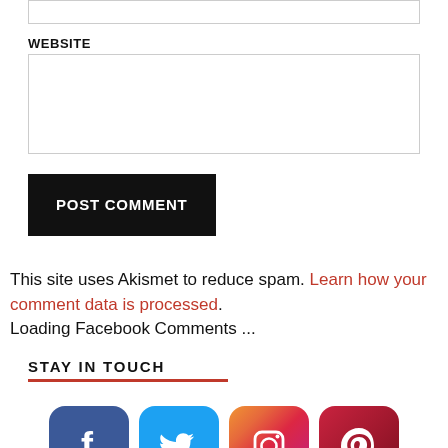WEBSITE
This site uses Akismet to reduce spam. Learn how your comment data is processed.
Loading Facebook Comments ...
STAY IN TOUCH
[Figure (illustration): Social media icons row: Facebook, Twitter, Instagram, Pinterest]